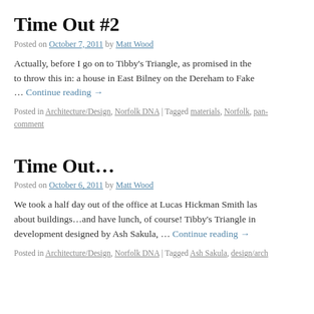Time Out #2
Posted on October 7, 2011 by Matt Wood
Actually, before I go on to Tibby's Triangle, as promised in the to throw this in: a house in East Bilney on the Dereham to Fake… Continue reading →
Posted in Architecture/Design, Norfolk DNA | Tagged materials, Norfolk, pan- comment
Time Out…
Posted on October 6, 2011 by Matt Wood
We took a half day out of the office at Lucas Hickman Smith las about buildings…and have lunch, of course! Tibby's Triangle in development designed by Ash Sakula, … Continue reading →
Posted in Architecture/Design, Norfolk DNA | Tagged Ash Sakula, design/arch